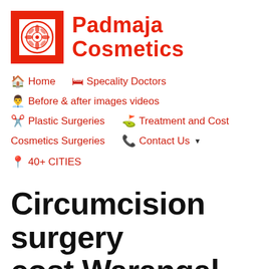[Figure (logo): Padmaja Cosmetics logo with red rectangular frame containing a circular mandala/yantra design, alongside red bold text 'Padmaja Cosmetics']
🏠 Home   🛏 Specality Doctors
👨‍💼 Before & after images videos
✂ Plastic Surgeries   ⛳ Treatment and Cost
Cosmetics Surgeries   📞 Contact Us ▼
📍 40+ CITIES
Circumcision surgery cost Warangal